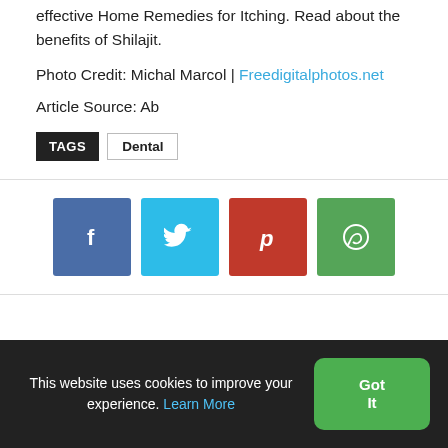effective Home Remedies for Itching. Read about the benefits of Shilajit.
Photo Credit: Michal Marcol | Freedigitalphotos.net
Article Source: Ab
TAGS  Dental
[Figure (other): Social share buttons: Facebook, Twitter, Pinterest, WhatsApp]
This website uses cookies to improve your experience. Learn More  Got It